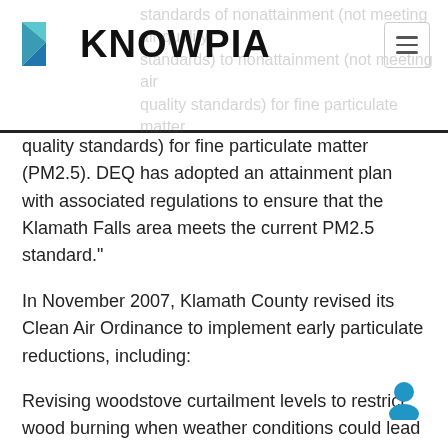KNOWPIA
quality standards) for fine particulate matter (PM2.5). DEQ has adopted an attainment plan with associated regulations to ensure that the Klamath Falls area meets the current PM2.5 standard."
In November 2007, Klamath County revised its Clean Air Ordinance to implement early particulate reductions, including:
Revising woodstove curtailment levels to restrict wood burning when weather conditions could lead to accumulation of particulate in the Klamath Falls area
Requiring removal of an uncertified wood stove upon sale of a home